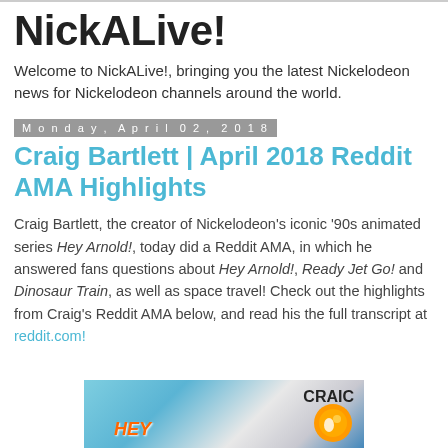NickALive!
Welcome to NickALive!, bringing you the latest Nickelodeon news for Nickelodeon channels around the world.
Monday, April 02, 2018
Craig Bartlett | April 2018 Reddit AMA Highlights
Craig Bartlett, the creator of Nickelodeon's iconic '90s animated series Hey Arnold!, today did a Reddit AMA, in which he answered fans questions about Hey Arnold!, Ready Jet Go! and Dinosaur Train, as well as space travel! Check out the highlights from Craig's Reddit AMA below, and read his the full transcript at reddit.com!
[Figure (photo): Photo showing Hey Arnold! and Craig Bartlett promotional materials/books]